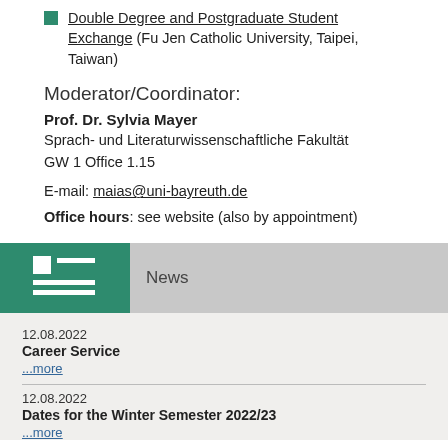Double Degree and Postgraduate Student Exchange (Fu Jen Catholic University, Taipei, Taiwan)
Moderator/Coordinator:
Prof. Dr. Sylvia Mayer
Sprach- und Literaturwissenschaftliche Fakultät
GW 1 Office 1.15
E-mail: maias@uni-bayreuth.de
Office hours: see website (also by appointment)
[Figure (other): News section header with green icon box containing a document/news icon and grey area with 'News' label]
12.08.2022
Career Service
...more
12.08.2022
Dates for the Winter Semester 2022/23
...more